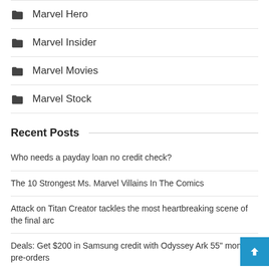Marvel Hero
Marvel Insider
Marvel Movies
Marvel Stock
Recent Posts
Who needs a payday loan no credit check?
The 10 Strongest Ms. Marvel Villains In The Comics
Attack on Titan Creator tackles the most heartbreaking scene of the final arc
Deals: Get $200 in Samsung credit with Odyssey Ark 55" monitor pre-orders
Nathalie Emmanuel doesn't know if Fast and Furious can go into space
Harry Styles Hints MCU Fans Might Have a Long Wait Until Free Returns